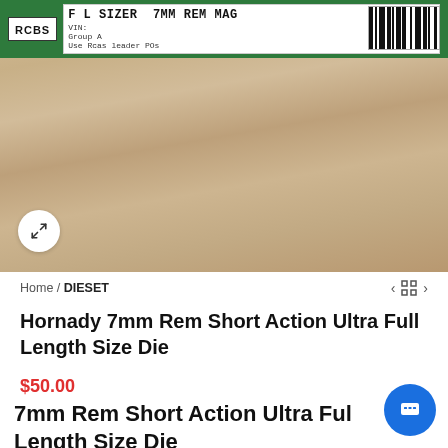[Figure (photo): Product photo of RCBS FL Sizer die box with green label showing '7MM REM MAG' and product number 13629 with barcode, placed on wooden surface]
Home / DIESET
Hornady 7mm Rem Short Action Ultra Full Length Size Die
$50.00
7mm Rem Short Action Ultra Full Length Size Die